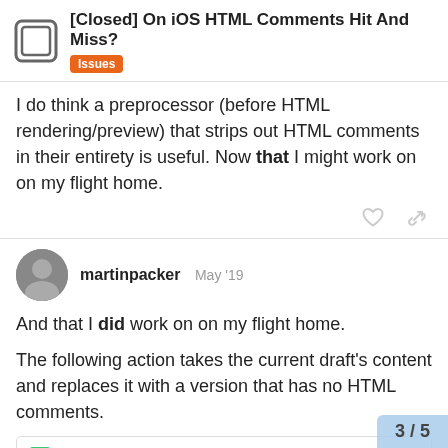[Closed] On iOS HTML Comments Hit And Miss? — Issues
I do think a preprocessor (before HTML rendering/preview) that strips out HTML comments in their entirety is useful. Now that I might work on on my flight home.
martinpacker  May '19
And that I did work on on my flight home.
The following action takes the current draft's content and replaces it with a version that has no HTML comments.
Remove HTML Comments | Drafts Action Directory  Action Directory Commen...
3 / 5